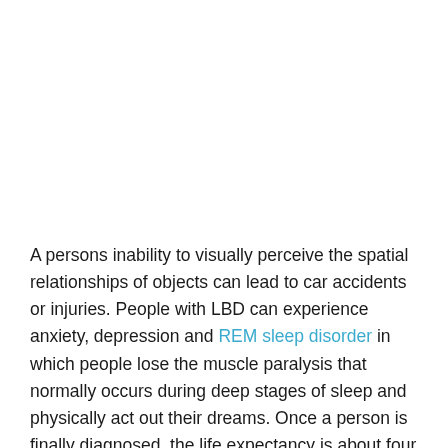A persons inability to visually perceive the spatial relationships of objects can lead to car accidents or injuries. People with LBD can experience anxiety, depression and REM sleep disorder in which people lose the muscle paralysis that normally occurs during deep stages of sleep and physically act out their dreams. Once a person is finally diagnosed, the life expectancy is about four to five years, Vox said.